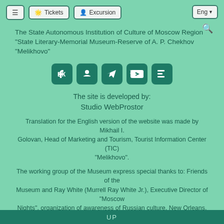≡  Tickets  Excursion  Eng ▾
The State Autonomous Institution of Culture of Moscow Region "State Literary-Memorial Museum-Reserve of A. P. Chekhov "Melikhovo"
[Figure (other): Row of 5 social media icon buttons: VK, Odnoklassniki, Telegram, YouTube, and another icon, all dark teal rounded square icons with white symbols]
The site is developed by:
Studio WebProstor
Translation for the English version of the website was made by Mikhail I. Golovan, Head of Marketing and Tourism, Tourist Information Center (TIC) "Melikhovo".
The working group of the Museum express special thanks to: Friends of the Museum and Ray White (Murrell Ray White Jr.), Executive Director of "Moscow Nights", organization of awareness of Russian culture, New Orleans, for their assistance in our project.
UP